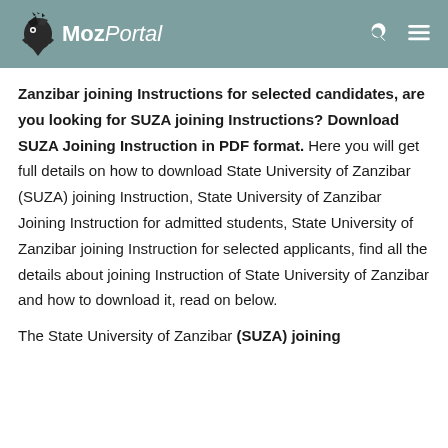MozPortal
Zanzibar joining Instructions for selected candidates, are you looking for SUZA joining Instructions? Download SUZA Joining Instruction in PDF format. Here you will get full details on how to download State University of Zanzibar (SUZA) joining Instruction, State University of Zanzibar Joining Instruction for admitted students, State University of Zanzibar joining Instruction for selected applicants, find all the details about joining Instruction of State University of Zanzibar and how to download it, read on below.
The State University of Zanzibar (SUZA) joining